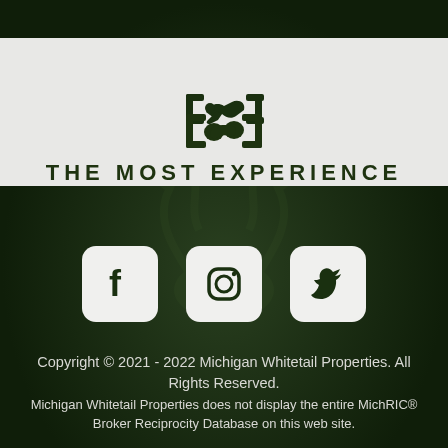[Figure (logo): Handshake icon in dark green on light gray banner]
THE MOST EXPERIENCE
[Figure (illustration): Three social media icons (Facebook, Instagram, Twitter) in white rounded square boxes on dark green background]
Copyright © 2021 - 2022 Michigan Whitetail Properties. All Rights Reserved.
Michigan Whitetail Properties does not display the entire MichRIC® Broker Reciprocity Database on this web site.